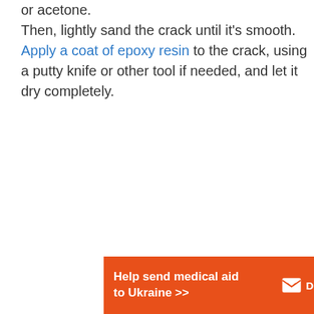or acetone.
Then, lightly sand the crack until it's smooth. Apply a coat of epoxy resin to the crack, using a putty knife or other tool if needed, and let it dry completely.
[Figure (infographic): Orange advertisement banner for Direct Relief: 'Help send medical aid to Ukraine >>' with Direct Relief logo (envelope icon and text) on the right.]